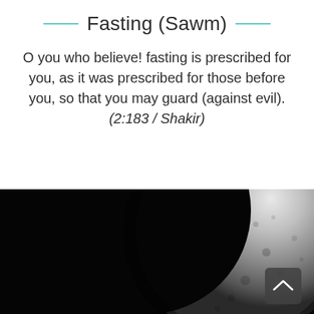Fasting (Sawm)
O you who believe! fasting is prescribed for you, as it was prescribed for those before you, so that you may guard (against evil). (2:183 / Shakir)
[Figure (photo): Black and white photograph of a crescent moon against a dark background, with visible lunar surface detail on the illuminated edge.]